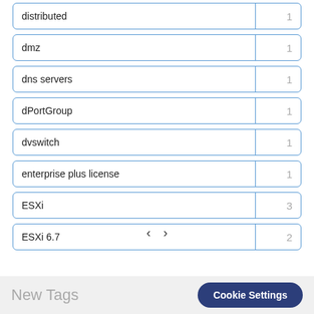distributed	1
dmz	1
dns servers	1
dPortGroup	1
dvswitch	1
enterprise plus license	1
ESXi	3
ESXi 6.7	2
‹ ›
New Tags
Cookie Settings